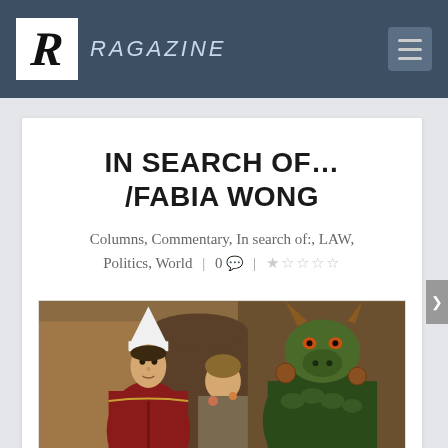RAGAZINE
IN SEARCH OF... /FABIA WONG
Columns, Commentary, In search of:, LAW, Politics, World | 0 💬 | ☆☆☆☆☆
[Figure (illustration): Medieval painting showing a religious figure in papal/bishop attire on the left with a white pointed hat, and a demonic/dragon-like creature on the right with horns and green scales, set against an architectural background]